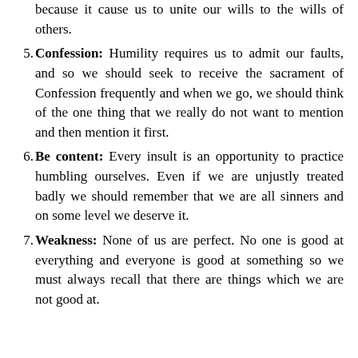because it cause us to unite our wills to the wills of others.
Confession: Humility requires us to admit our faults, and so we should seek to receive the sacrament of Confession frequently and when we go, we should think of the one thing that we really do not want to mention and then mention it first.
Be content: Every insult is an opportunity to practice humbling ourselves. Even if we are unjustly treated badly we should remember that we are all sinners and on some level we deserve it.
Weakness: None of us are perfect. No one is good at everything and everyone is good at something so we must always recall that there are things which we are not good at.